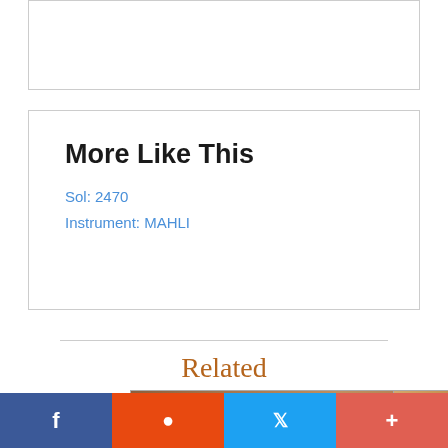[Figure (other): Top bordered box, partially visible, white background]
More Like This
Sol: 2470
Instrument: MAHLI
Related
[Figure (photo): Mars surface photograph showing sandy terrain with ridges, brownish-orange color]
[Figure (photo): Partial Mars surface photo on the right edge]
f  [reddit icon]  [twitter bird icon]  +